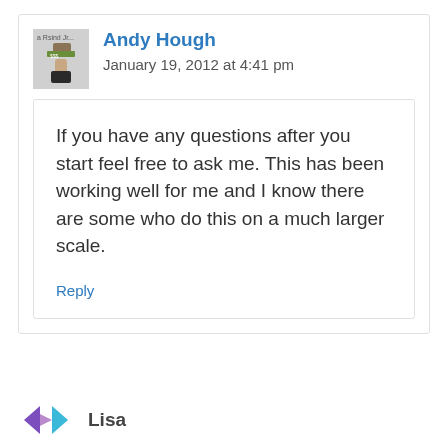Andy Hough
January 19, 2012 at 4:41 pm
If you have any questions after you start feel free to ask me. This has been working well for me and I know there are some who do this on a much larger scale.
Reply
Lisa